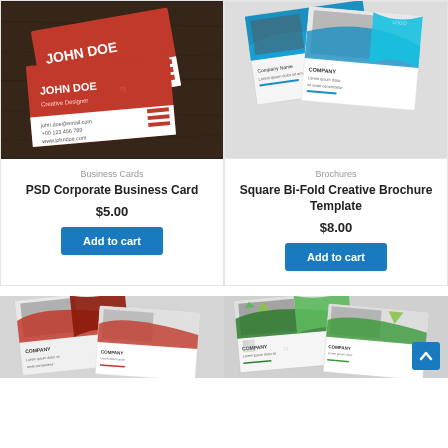[Figure (photo): Product image of PSD Corporate Business Card with red design on dark wood background]
Business Cards
PSD Corporate Business Card
$5.00
Add to cart
[Figure (photo): Product image of Square Bi-Fold Creative Brochure Template with blue wave design]
Brochures
Square Bi-Fold Creative Brochure Template
$8.00
Add to cart
[Figure (photo): Product image of brochure with red and dark design]
[Figure (photo): Product image of brochure with green and dark design with scroll-to-top button]